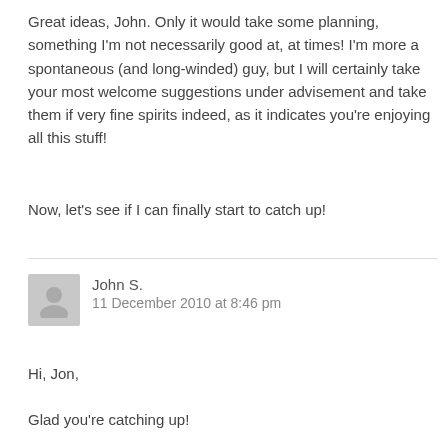Great ideas, John. Only it would take some planning, something I'm not necessarily good at, at times! I'm more a spontaneous (and long-winded) guy, but I will certainly take your most welcome suggestions under advisement and take them if very fine spirits indeed, as it indicates you're enjoying all this stuff!
Now, let's see if I can finally start to catch up!
John S.
11 December 2010 at 8:46 pm
Hi, Jon,
Glad you're catching up!